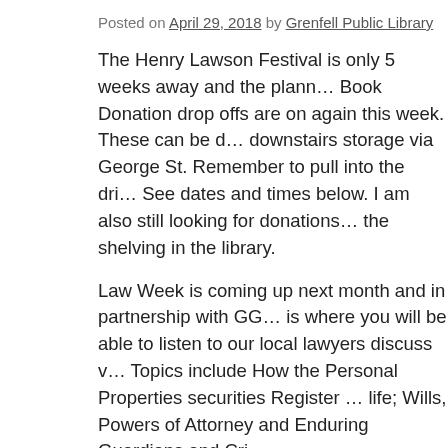Posted on April 29, 2018 by Grenfell Public Library
The Henry Lawson Festival is only 5 weeks away and the plann... Book Donation drop offs are on again this week. These can be d... downstairs storage via George St. Remember to pull into the dri... See dates and times below. I am also still looking for donations... the shelving in the library.
Law Week is coming up next month and in partnership with GG... is where you will be able to listen to our local lawyers discuss v... Topics include How the Personal Properties securities Register ... life; Wills, Powers of Attorney and Enduring Guardians and Cri...
The latest magazine titles to arrive include Australian Patchwork...
Some new large print titles are ready for loan and they include B... the law! By Hank J. Kirby and Wyoming blood feud by Dale Gr...
The latest kid's titles include Holiday adventures by Enid Blyto...